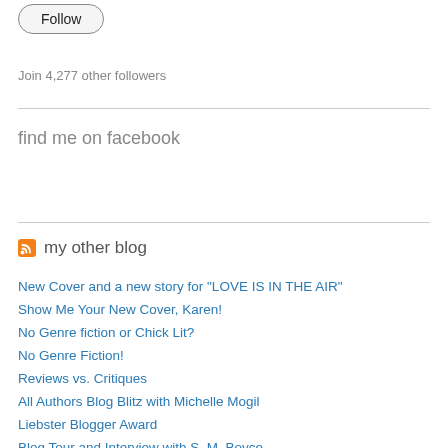[Figure (other): Follow button with rounded pill shape border]
Join 4,277 other followers
find me on facebook
my other blog
New Cover and a new story for "LOVE IS IN THE AIR"
Show Me Your New Cover, Karen!
No Genre fiction or Chick Lit?
No Genre Fiction!
Reviews vs. Critiques
All Authors Blog Blitz with Michelle Mogil
Liebster Blogger Award
Blog Tour and Interview with S. M. Boyce